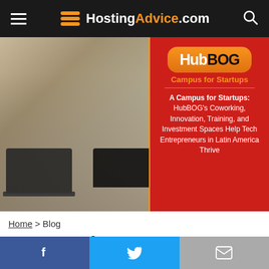HostingAdvice.com
[Figure (photo): Two young people working on laptops in a coworking space with HubBOG Campus for Startups branding overlay on the right side]
Home > Blog
A Campus for Startups: HubBOG's Coworking, Innovation, Training, and Investment Spaces Help Tech Entrepreneurs in Latin America Thrive